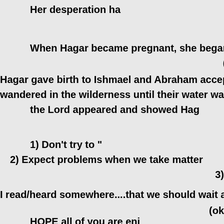Her desperation ha
When Hagar became pregnant, she begar
(Sarah
Hagar gave birth to Ishmael and Abraham accepted h
wandered in the wilderness until their water was gon
the Lord appeared and showed Hag
1)  Don't try to "
2)  Expect problems when we take matter
3)
I read/heard somewhere....that we should wait at least
(ok
HOPE all of you are enj